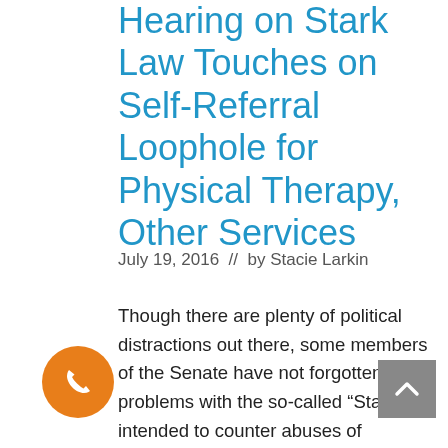Hearing on Stark Law Touches on Self-Referral Loophole for Physical Therapy, Other Services
July 19, 2016  //  by Stacie Larkin
Though there are plenty of political distractions out there, some members of the Senate have not forgotten about problems with the so-called “Stark law” intended to counter abuses of physician self-referral. At a hearing of the Senate Finance Committee this week, legislators talked about how certain provisions of the law, including exceptions that allow for self-referral to physical therapy, may … Read full post